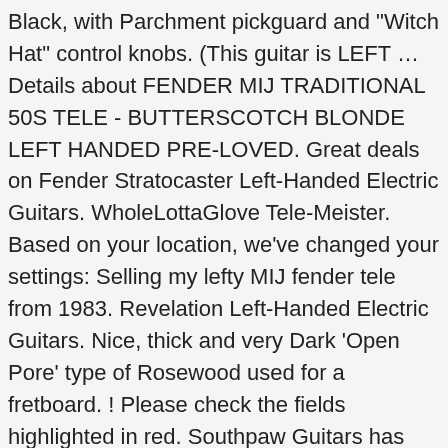Black, with Parchment pickguard and "Witch Hat" control knobs. (This guitar is LEFT … Details about FENDER MIJ TRADITIONAL 50S TELE - BUTTERSCOTCH BLONDE LEFT HANDED PRE-LOVED. Great deals on Fender Stratocaster Left-Handed Electric Guitars. WholeLottaGlove Tele-Meister. Based on your location, we've changed your settings: Selling my lefty MIJ fender tele from 1983. Revelation Left-Handed Electric Guitars. Nice, thick and very Dark 'Open Pore' type of Rosewood used for a fretboard. ! Please check the fields highlighted in red. Southpaw Guitars has over 900 Left Handed Guitars and Basses in stock at any time. Fender Left Handed Guitars are one of the most recognize guitar brands in the world. AU $1,816.21. Left Handed Guitars. $199.99 Load More Compare up to 4 products. Electric Guitars; Left-Handed; Fender; Fender MIJ Telecaster 1962 Sunburst Left Handed. Model #: 0145222550. C $1,977.52; or Best … Gents Gold Bulova Quartz For Repair With Leather Strap, Antique Silver Plated Entrée Dish - Detachable Handle - Victorian Decora, Yamaha DTX520K (DTX 520) Electronic Drum Kit